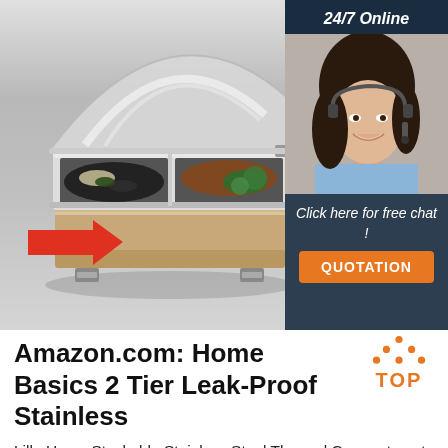[Figure (photo): Product photo of a stainless steel multi-compartment chafing dish / lunch box with open lid, showing three food compartments with various foods. A red arrow points to the side of the product. In the upper right, there is an advertisement sidebar with '24/7 Online', a photo of a smiling woman with a headset, 'Click here for free chat!', and an orange button reading 'QUOTATION'.]
Amazon.com: Home Basics 2 Tier Leak-Proof Stainless
Lille Home Stackable Stainless Steel Thermal Compartment Lunch/Snack Box, 3-Tier Insulated